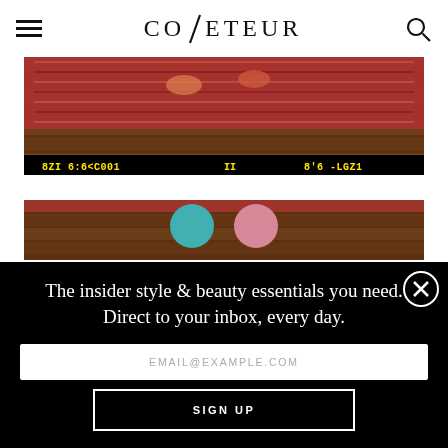COVETEUR
[Figure (photo): Aerial/overhead view of a decorative red patterned rug on wooden floor, with what appears to be feet or shoes visible, overlaid with yellow text on black bar at bottom showing some kind of data overlay]
[Figure (photo): Partial overhead view showing teal and pink shoes/slippers on wooden floor near a red rug]
The insider style & beauty essentials you need. Direct to your inbox, every day.
EMAIL@EXAMPLE.COM
SIGN UP